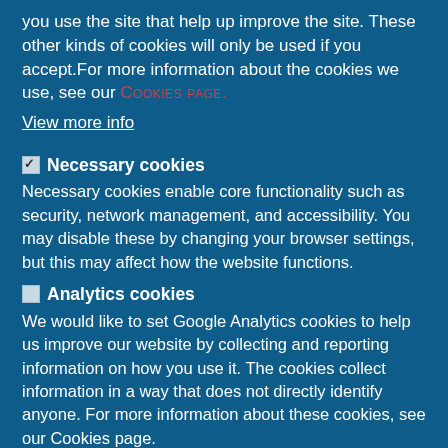you use the site that help up improve the site. These other kinds of cookies will only be used if you accept.For more information about the cookies we use, see our Cookies page.
View more info
Necessary cookies
Necessary cookies enable core functionality such as security, network management, and accessibility. You may disable these by changing your browser settings, but this may affect how the website functions.
Analytics cookies
We would like to set Google Analytics cookies to help us improve our website by collecting and reporting information on how you use it. The cookies collect information in a way that does not directly identify anyone. For more information about these cookies, see our Cookies page.
Other cookies
We would like to set other cookies … For more information about these cookies, see our Cookies page.